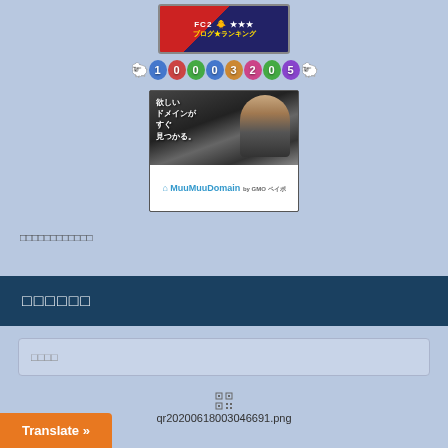[Figure (screenshot): FC2 blog ranking banner with red and dark blue background, showing FC2 text with duck emoji and stars]
[Figure (screenshot): Counter showing numbers 1 0 0 0 3 2 0 5 with colorful circle digit boxes and sheep emoji on each side]
[Figure (screenshot): MuuMuuDomain advertisement banner showing a man styling hair with Japanese text 欲しいドメインがすぐ見つかる。and MuuMuuDomain logo]
□□□□□□□□□□□□
□□□□□□
□□□□
[Figure (screenshot): QR code image placeholder with filename qr20200618003046691.png]
qr20200618003046691.png
Translate »